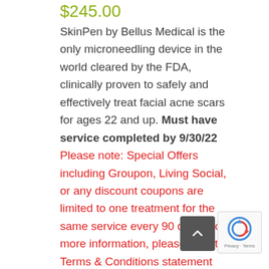$245.00
SkinPen by Bellus Medical is the only microneedling device in the world cleared by the FDA, clinically proven to safely and effectively treat facial acne scars for ages 22 and up. Must have service completed by 9/30/22
Please note: Special Offers including Groupon, Living Social, or any discount coupons are limited to one treatment for the same service every 90 days. For more information, please read the Terms & Conditions statement